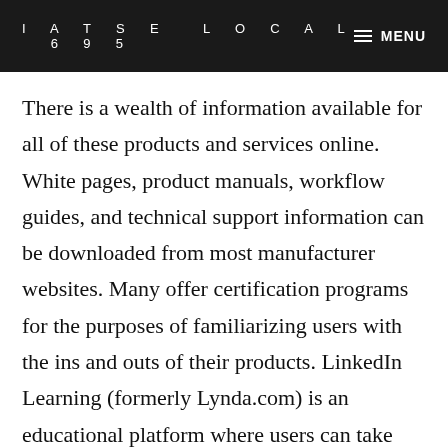IATSE LOCAL 695  MENU
There is a wealth of information available for all of these products and services online. White pages, product manuals, workflow guides, and technical support information can be downloaded from most manufacturer websites. Many offer certification programs for the purposes of familiarizing users with the ins and outs of their products. LinkedIn Learning (formerly Lynda.com) is an educational platform where users can take classes across a staggering variety of subjects and is available for free to all IATSE members